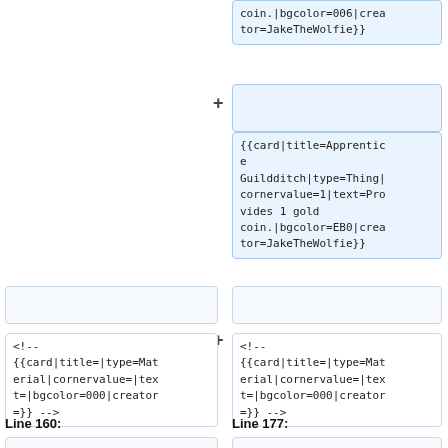coin.|bgcolor=006|creator=JakeTheWolfie}}
{{card|title=Apprentice Guildditch|type=Thing|cornervalue=1|text=Provides 1 gold coin.|bgcolor=EB0|creator=JakeTheWolfie}}
<!-- {{card|title=|type=Material|cornervalue=|text=|bgcolor=000|creator=}} -->
<!-- {{card|title=|type=Material|cornervalue=|text=|bgcolor=000|creator=}} -->
Line 160:
Line 177: